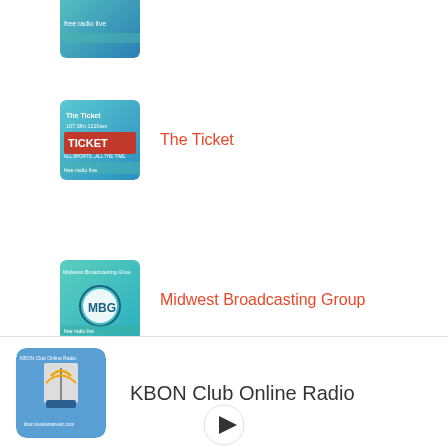[Figure (screenshot): Partial thumbnail of a radio station logo at the very top, partially cropped]
The Ticket
Midwest Broadcasting Group
KPFC 91.9 FM
[Figure (screenshot): KBON Club Online Radio app logo — blue background with a radio tower icon and text]
KBON Club Online Radio
[Figure (other): Play button (triangle arrow) at bottom center]